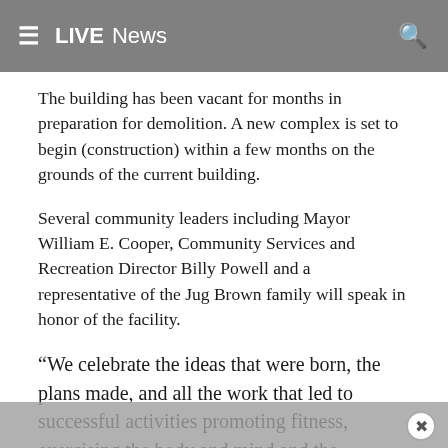≡  LIVE  News
The building has been vacant for months in preparation for demolition. A new complex is set to begin (construction) within a few months on the grounds of the current building.
Several community leaders including Mayor William E. Cooper, Community Services and Recreation Director Billy Powell and a representative of the Jug Brown family will speak in honor of the facility.
“We celebrate the ideas that were born, the plans made, and all the work that led to successful activities promoting fitness, exercising the body and mind and the ensuring that people could enjoy fun-filled events and the beauty of nature at all of the city’s park locations.